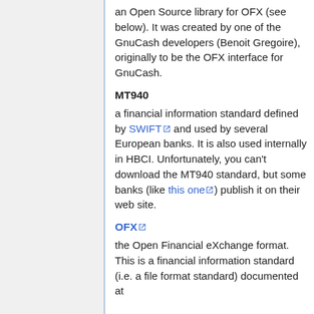an Open Source library for OFX (see below). It was created by one of the GnuCash developers (Benoit Gregoire), originally to be the OFX interface for GnuCash.
MT940
a financial information standard defined by SWIFT and used by several European banks. It is also used internally in HBCI. Unfortunately, you can't download the MT940 standard, but some banks (like this one) publish it on their web site.
OFX
the Open Financial eXchange format. This is a financial information standard (i.e. a file format standard) documented at